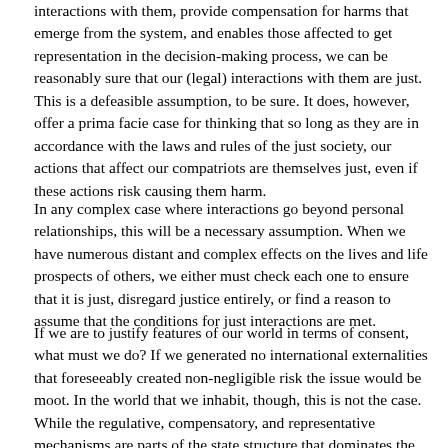interactions with them, provide compensation for harms that emerge from the system, and enables those affected to get representation in the decision-making process, we can be reasonably sure that our (legal) interactions with them are just. This is a defeasible assumption, to be sure. It does, however, offer a prima facie case for thinking that so long as they are in accordance with the laws and rules of the just society, our actions that affect our compatriots are themselves just, even if these actions risk causing them harm.
In any complex case where interactions go beyond personal relationships, this will be a necessary assumption. When we have numerous distant and complex effects on the lives and life prospects of others, we either must check each one to ensure that it is just, disregard justice entirely, or find a reason to assume that the conditions for just interactions are met.
If we are to justify features of our world in terms of consent, what must we do? If we generated no international externalities that foreseeably created non-negligible risk the issue would be moot. In the world that we inhabit, though, this is not the case. While the regulative, compensatory, and representative mechanisms are parts of the state structure that dominates the world, there are many affects and interactions which are international, not intranational. International agreements, unlike intranational agreements, must get actual, not merely hypothetical